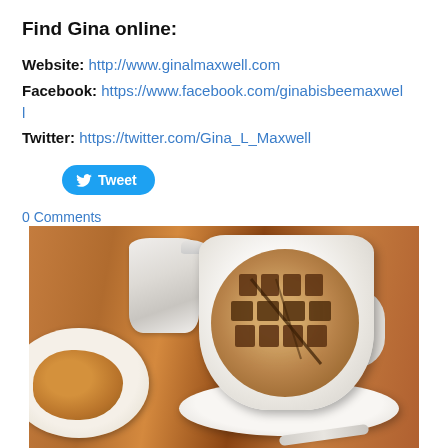Find Gina online:
Website: http://www.ginalmaxwell.com
Facebook: https://www.facebook.com/ginabisbeemaxwell
Twitter: https://twitter.com/Gina_L_Maxwell
[Figure (other): Twitter Tweet button (blue rounded button with bird icon and 'Tweet' label)]
0 Comments
[Figure (photo): Photo of a cappuccino cup with latte art spelling text, accompanied by a small white milk pitcher and a pastry on a plate, all on a wooden table.]